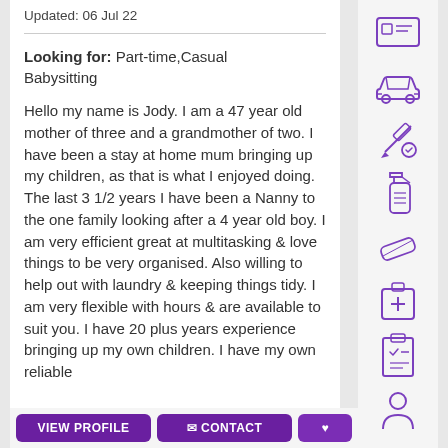Updated: 06 Jul 22
Looking for: Part-time,Casual Babysitting
Hello my name is Jody. I am a 47 year old mother of three and a grandmother of two. I have been a stay at home mum bringing up my children, as that is what I enjoyed doing. The last 3 1/2 years I have been a Nanny to the one family looking after a 4 year old boy. I am very efficient great at multitasking & love things to be very organised. Also willing to help out with laundry & keeping things tidy. I am very flexible with hours & are available to suit you. I have 20 plus years experience bringing up my own children. I have my own reliable